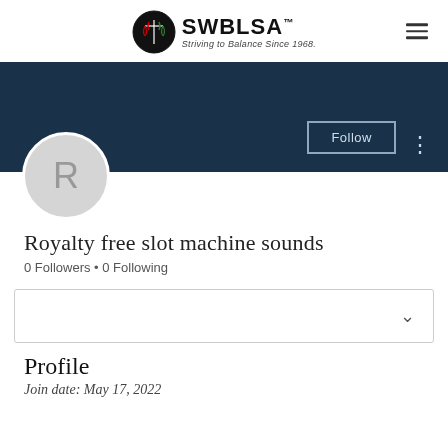[Figure (logo): SWBLSA logo with circular emblem showing scales of justice and text 'SWBLSA™ Striving to Balance Since 1968.']
[Figure (photo): Dark navy blue banner/header image for user profile]
[Figure (illustration): Circular avatar placeholder with letter R on grey background]
Royalty free slot machine sounds
0 Followers • 0 Following
Profile
Join date: May 17, 2022